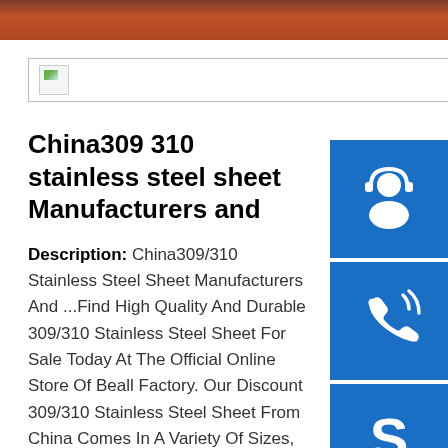[Figure (photo): Dark red/brown banner at top of page]
[Figure (screenshot): Search bar with small broken image icon on the left]
[Figure (illustration): Blue square button with white headset/support icon]
[Figure (illustration): Blue square button with white telephone/call icon]
[Figure (illustration): Blue square button with white Skype 'S' icon]
China309 310 stainless steel sheet Manufacturers and
Description: China309/310 Stainless Steel Sheet Manufacturers And ...Find High Quality And Durable 309/310 Stainless Steel Sheet For Sale Today At The Official Online Store Of Beall Factory. Our Discount 309/310 Stainless Steel Sheet From China Comes In A Variety Of Sizes, Styles And Prices. Please Rest Assured To Buy. China 309 Stainl ...
Standard: ASTM, AISI, GB, JIS, DIN, BS